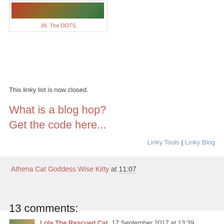[Figure (photo): Thumbnail image of item 39 The DOTS with colorful textile/craft image]
39. The DOTS
This linky list is now closed.
What is a blog hop?
Get the code here...
Linky Tools | Linky Blog
Athena Cat Goddess Wise Kitty at 11:07
Share
13 comments:
Lola The Rescued Cat  17 September 2017 at 13:39
We'll be participating! We're very excited to be a part of this